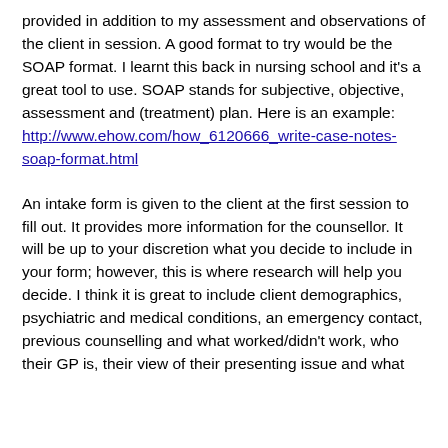provided in addition to my assessment and observations of the client in session. A good format to try would be the SOAP format. I learnt this back in nursing school and it's a great tool to use. SOAP stands for subjective, objective, assessment and (treatment) plan. Here is an example: http://www.ehow.com/how_6120666_write-case-notes-soap-format.html
An intake form is given to the client at the first session to fill out. It provides more information for the counsellor. It will be up to your discretion what you decide to include in your form; however, this is where research will help you decide. I think it is great to include client demographics, psychiatric and medical conditions, an emergency contact, previous counselling and what worked/didn't work, who their GP is, their view of their presenting issue and what